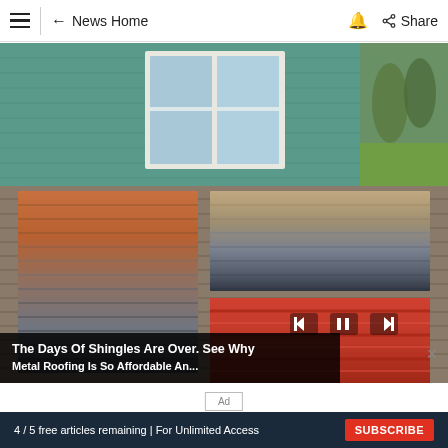≡  ← News Home  🔔  Share
[Figure (photo): A rooftop displaying multiple types and colors of roofing shingles/tiles including red-orange, tan, gray, dark charcoal, and red corrugated metal panels, with a house exterior featuring teal/green siding and a white window in the background, green lawn visible on the right side. Media player controls (skip back, pause, skip forward) visible bottom right of image.]
The Days Of Shingles Are Over. See Why Metal Roofing Is So Affordable An...
Ad
4 / 5 free articles remaining | For Unlimited Access   SUBSCRIBE